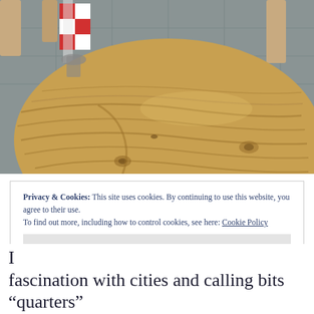[Figure (photo): A round wooden table with natural oak grain texture, viewed from above at an angle. In the background are wooden chair legs and a white/red checkered decorative element. The table surface shows prominent wood grain and knot details.]
Privacy & Cookies: This site uses cookies. By continuing to use this website, you agree to their use.
To find out more, including how to control cookies, see here: Cookie Policy
Close and accept
I
fascination with cities and calling bits “quarters”